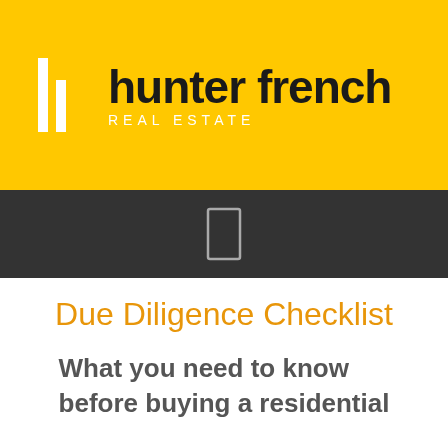[Figure (logo): Hunter French Real Estate logo on yellow background with white bar/pipe icon graphic]
[Figure (other): Dark grey band with a small white outlined rectangle/door icon in the center]
Due Diligence Checklist
What you need to know before buying a residential